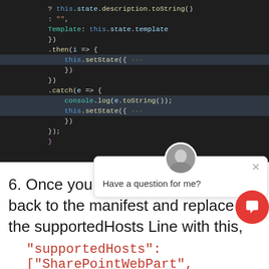[Figure (screenshot): Dark-themed code editor screenshot showing JavaScript/TypeScript code with .then() and .catch() blocks, setState calls, and a closing brace. Lines include: this.state.description.toString(), Template: this.state.template, .then(i => {, this.setState({ ... }), .catch(e => {, console.log(e.toString());, this.setState({ ... }), });, }]
6. Once you add all the code, go back to the manifest and replace the supportedHosts Line with this,
"supportedHosts": ["SharePointWebPart",
"TeamsTab"],